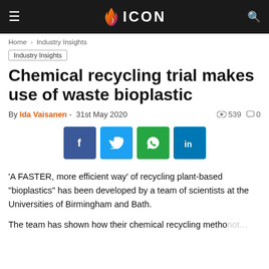ICON
Home › Industry Insights
Industry Insights
Chemical recycling trial makes use of waste bioplastic
By Ida Vaisanen - 31st May 2020  ◉ 539  💬 0
[Figure (other): Social share buttons for Facebook, Twitter, WhatsApp, and LinkedIn]
'A FASTER, more efficient way' of recycling plant-based "bioplastics" has been developed by a team of scientists at the Universities of Birmingham and Bath.
The team has shown how their chemical recycling metho not...